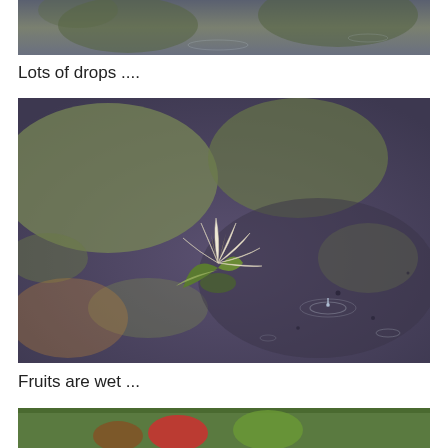[Figure (photo): Top portion of a water lily pond scene with lily pads floating on dark water, partially cropped at top]
Lots of drops ....
[Figure (photo): A yellow-white water lily flower floating on a dark purple-grey rain-rippled pond with green lily pads, with visible water droplets in the rain]
Fruits are wet ...
[Figure (photo): Bottom portion of an image showing wet fruits, partially cropped, with green and red visible]